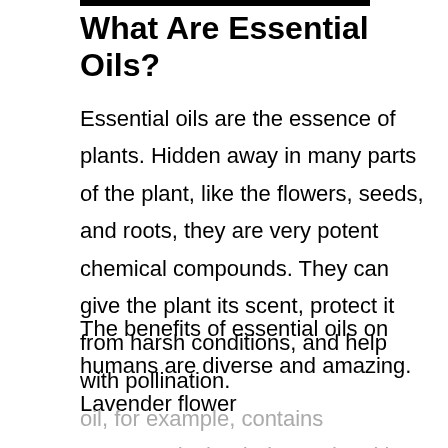What Are Essential Oils?
Essential oils are the essence of plants. Hidden away in many parts of the plant, like the flowers, seeds, and roots, they are very potent chemical compounds. They can give the plant its scent, protect it from harsh conditions, and help with pollination.
The benefits of essential oils on humans are diverse and amazing. Lavender flower oil, for example, contains compounds that help soothe skin irritation and redness